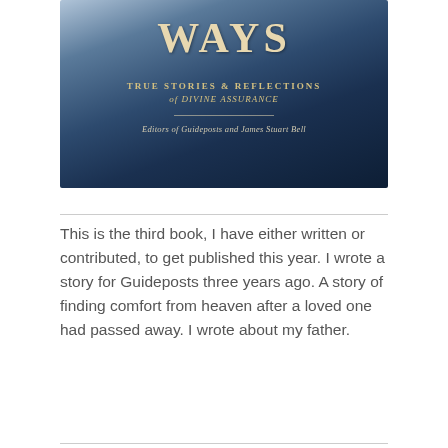[Figure (photo): Photo of a hardcover book with a dark blue cloudy sky cover. The visible text on the cover reads 'WAYS' at the top in large gold serif letters, followed by 'TRUE STORIES & REFLECTIONS of DIVINE ASSURANCE' in gold text, a dividing line, and 'Editors of Guideposts and James Stuart Bell' in italic text.]
This is the third book, I have either written or contributed, to get published this year. I wrote a story for Guideposts three years ago. A story of finding comfort from heaven after a loved one had passed away. I wrote about my father.